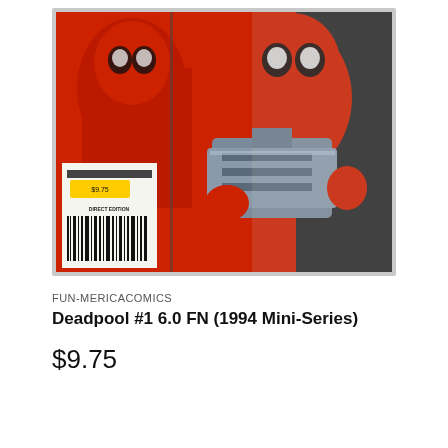[Figure (photo): Deadpool comic book #1 from 1994 Mini-Series, showing the cover art with Deadpool in his red costume holding a large gun, with a barcode/Direct Edition label visible. The comic is in a protective plastic sleeve with a gray border.]
FUN-MERICACOMICS
Deadpool #1 6.0 FN (1994 Mini-Series)
$9.75